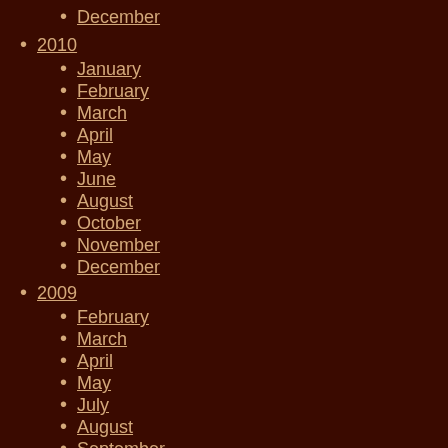December
2010
January
February
March
April
May
June
August
October
November
December
2009
February
March
April
May
July
August
September